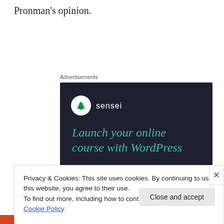Pronman's opinion.
Advertisements
[Figure (other): Sensei advertisement: dark background with Sensei logo (white circle with tree icon and 'sensei' text). Headline reads 'Launch your online course with WordPress' in teal/green italic text. Teal 'Learn More' button at bottom.]
Privacy & Cookies: This site uses cookies. By continuing to use this website, you agree to their use.
To find out more, including how to control cookies, see here: Cookie Policy
Close and accept